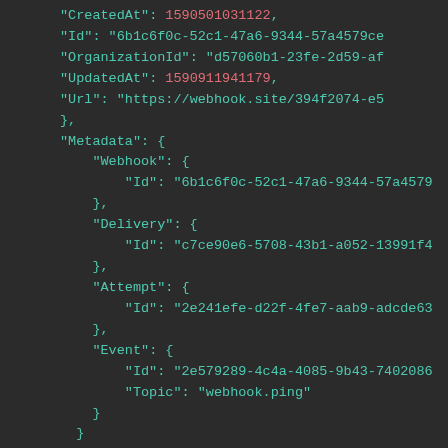[Figure (screenshot): Dark-themed code editor screenshot showing a JSON-like data structure with keys CreatedAt, Id, OrganizationId, UpdatedAt, Url, Metadata (containing Webhook, Delivery, Attempt, Event sub-objects)]